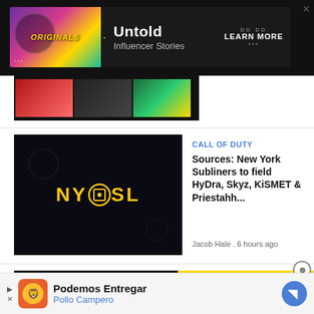[Figure (screenshot): Top advertisement banner: 'Originals' show banner with 'Untold Influencer Stories' and 'LEARN MORE' button on dark background]
[Figure (photo): Thumbnail strip of video content items at top left]
[Figure (screenshot): NYOSL yellow logo on dark background - New York Subliners Call of Duty team logo]
CALL OF DUTY
Sources: New York Subliners to field HyDra, Skyz, KiSMET & Priestahh...
Jacob Hale . 6 hours ago
[Figure (screenshot): Best Gaming Setup 2022 article thumbnail with gaming PC image]
TE
Th 20 w
Say
[Figure (screenshot): Minecraft video overlay popup with play button and MINECRAFT! badge on yellow border]
[Figure (screenshot): Bottom advertisement: Podemos Entregar - Pollo Campero with navigation icon]